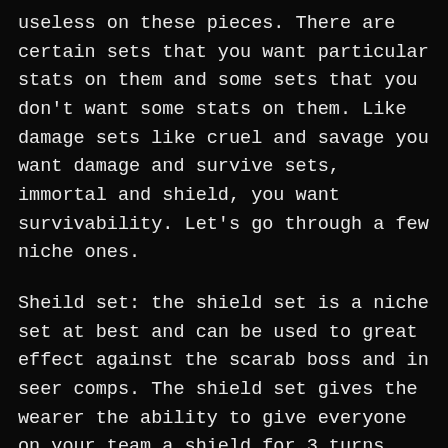useless on these pieces. There are certain sets that you want particular stats on them and some sets that you don't want some stats on them. Like damage sets like cruel and savage you want damage and survive sets, immortal and shield, you want survivability. Let's go through a few niche ones.
Sheild set: the shield set is a niche set at best and can be used to great effect against the scarab boss and in seer comps. The shield set gives the wearer the ability to give everyone on your team a shield for 3 turns equal to the wearer's max HP of 10%. Therefore you want as much HP on your gear as possible. So Attack is a useless stat for this gear set and you should